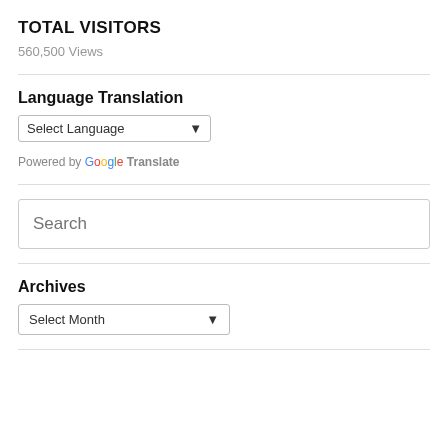TOTAL VISITORS
560,500 Views
Language Translation
Select Language
Powered by Google Translate
Search
Archives
Select Month